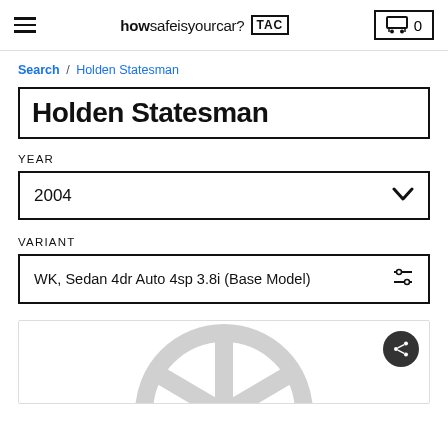howsafeisyourcar? TAC | 0
Search / Holden Statesman
Holden Statesman
YEAR
2004
VARIANT
WK, Sedan 4dr Auto 4sp 3.8i (Base Model)
[Figure (illustration): Partial car logo/steering wheel silhouette in light grey at the bottom of the page, with a dark share button (circular arrow icon) in the top-right of the card]